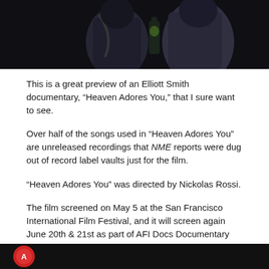[Figure (photo): Dark photo showing two people, one holding a bottle with a green label, in a dimly lit setting]
This is a great preview of an Elliott Smith documentary, “Heaven Adores You,” that I sure want to see.
Over half of the songs used in “Heaven Adores You” are unreleased recordings that NME reports were dug out of record label vaults just for the film.
“Heaven Adores You” was directed by Nickolas Rossi.
The film screened on May 5 at the San Francisco International Film Festival, and it will screen again June 20th & 21st as part of AFI Docs Documentary Film Festival in Washington, DC.
[Figure (photo): Partial dark photo visible at the bottom of the page, showing a small round logo or image]